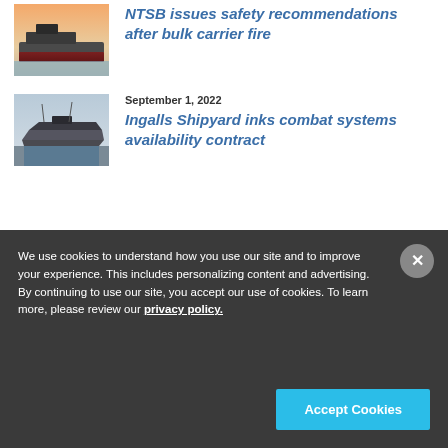[Figure (photo): Bulk carrier ship at sea with red hull visible, photographed at dusk or dawn]
NTSB issues safety recommendations after bulk carrier fire
September 1, 2022
[Figure (photo): Military stealth ship (destroyer) docked at a shipyard]
Ingalls Shipyard inks combat systems availability contract
[Figure (logo): KVH logo in white text on red background, over ocean background image]
We use cookies to understand how you use our site and to improve your experience. This includes personalizing content and advertising. By continuing to use our site, you accept our use of cookies. To learn more, please review our privacy policy.